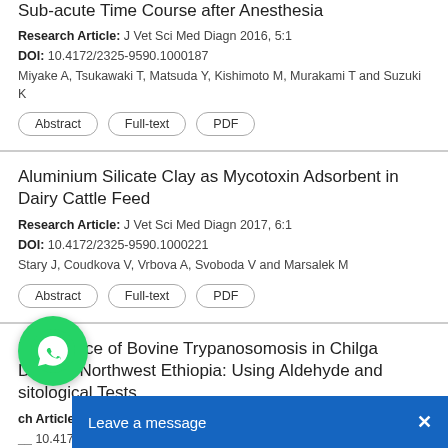Sub-acute Time Course after Anesthesia
Research Article: J Vet Sci Med Diagn 2016, 5:1
DOI: 10.4172/2325-9590.1000187
Miyake A, Tsukawaki T, Matsuda Y, Kishimoto M, Murakami T and Suzuki K
Aluminium Silicate Clay as Mycotoxin Adsorbent in Dairy Cattle Feed
Research Article: J Vet Sci Med Diagn 2017, 6:1
DOI: 10.4172/2325-9590.1000221
Stary J, Coudkova V, Vrbova A, Svoboda V and Marsalek M
Prevalence of Bovine Trypanosomosis in Chilga District, Northwest Ethiopia: Using Aldehyde and sitological Tests
Research Article: J Vet Sci Med Diagn 2016, 5:3
DOI: 10.4172/2325-9590.1000199
Seyoum Z and Abera D